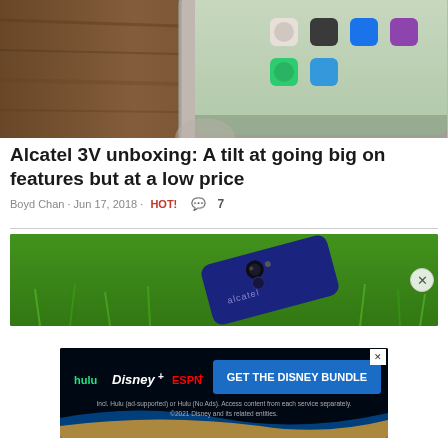[Figure (photo): Close-up of Alcatel 3V smartphone corner on a wooden table, showing app icons on screen]
Alcatel 3V unboxing: A tilt at going big on features but at a low price
Boyd Chan · Jun 17, 2018 · HOT! 💬 7
[Figure (photo): Alcatel 3V smartphone lying face-down on green grass, showing back with camera and Alcatel branding]
[Figure (infographic): Disney Bundle advertisement: hulu, Disney+, ESPN+ logos with text GET THE DISNEY BUNDLE. Incl. Hulu (ad-supported) or Hulu (No Ads). Access content from each service separately. ©2021 Disney and its related entities.]